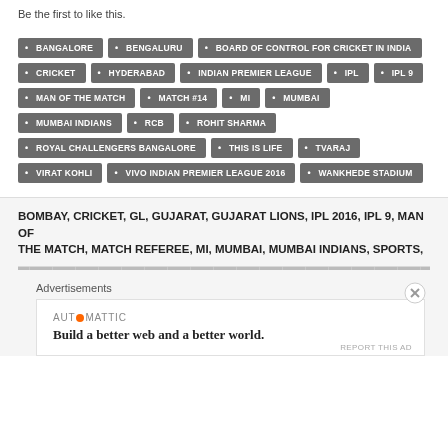Be the first to like this.
BANGALORE • BENGALURU • BOARD OF CONTROL FOR CRICKET IN INDIA • CRICKET • HYDERABAD • INDIAN PREMIER LEAGUE • IPL • IPL 9 • MAN OF THE MATCH • MATCH #14 • MI • MUMBAI • MUMBAI INDIANS • RCB • ROHIT SHARMA • ROYAL CHALLENGERS BANGALORE • THIS IS LIFE • TVARAJ • VIRAT KOHLI • VIVO INDIAN PREMIER LEAGUE 2016 • WANKHEDE STADIUM
BOMBAY, CRICKET, GL, GUJARAT, GUJARAT LIONS, IPL 2016, IPL 9, MAN OF THE MATCH, MATCH REFEREE, MI, MUMBAI, MUMBAI INDIANS, SPORTS,
Advertisements
AUTOMATTIC
Build a better web and a better world.